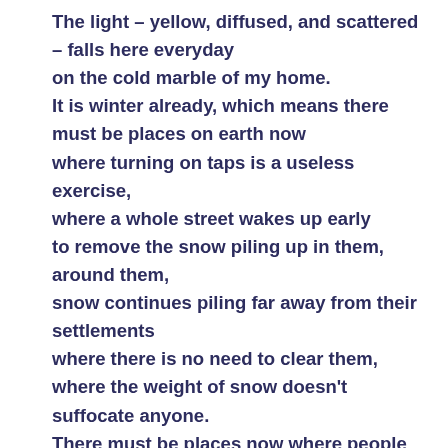The light – yellow, diffused, and scattered – falls here everyday
on the cold marble of my home.
It is winter already, which means there must be places on earth now
where turning on taps is a useless exercise,
where a whole street wakes up early
to remove the snow piling up in them, around them,
snow continues piling far away from their settlements
where there is no need to clear them,
where the weight of snow doesn't suffocate anyone.
There must be places now where people are forgetting things one by one.
Remembering an unreal ocean of fierce light,
forgetting ever being there.
How many places have I forgotten already?
I move two chairs into the circle of warmth
and wait for the evening cold to reach my skin,